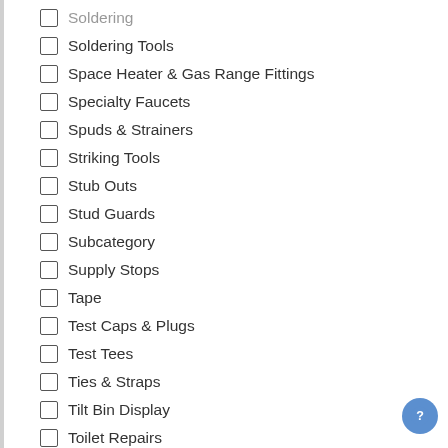Soldering Tools
Space Heater & Gas Range Fittings
Specialty Faucets
Spuds & Strainers
Striking Tools
Stub Outs
Stud Guards
Subcategory
Supply Stops
Tape
Test Caps & Plugs
Test Tees
Ties & Straps
Tilt Bin Display
Toilet Repairs
Totes
Trash Bags
Tub/Shower Faucets
Tubing
Tubing Benders
Utility Sinks
Valves
Vent Boxes & Caps